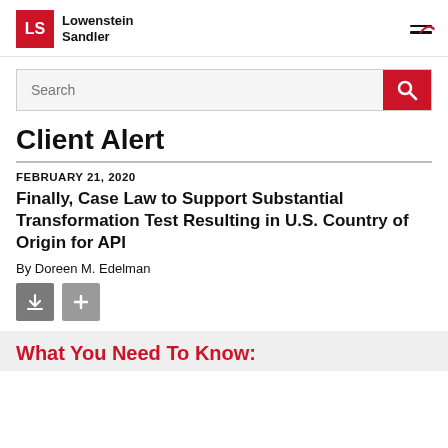[Figure (logo): Lowenstein Sandler logo with red LS box and firm name]
[Figure (screenshot): Search bar with red search button and hamburger navigation icon]
Client Alert
FEBRUARY 21, 2020
Finally, Case Law to Support Substantial Transformation Test Resulting in U.S. Country of Origin for API
By Doreen M. Edelman
What You Need To Know: